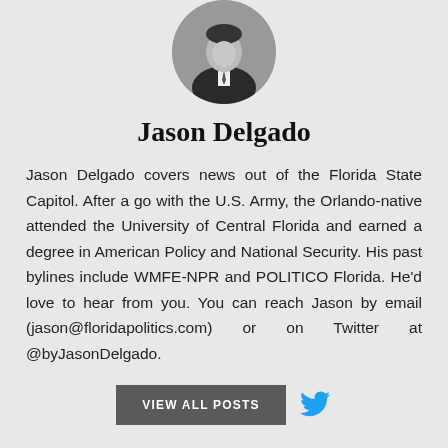[Figure (photo): Circular black and white headshot photo of Jason Delgado, a man in a dark suit and tie]
Jason Delgado
Jason Delgado covers news out of the Florida State Capitol. After a go with the U.S. Army, the Orlando-native attended the University of Central Florida and earned a degree in American Policy and National Security. His past bylines include WMFE-NPR and POLITICO Florida. He'd love to hear from you. You can reach Jason by email (jason@floridapolitics.com) or on Twitter at @byJasonDelgado.
VIEW ALL POSTS